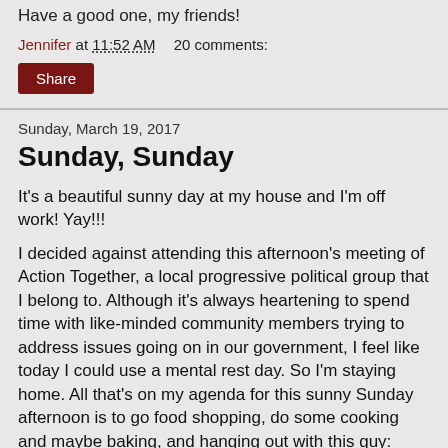Have a good one, my friends!
Jennifer at 11:52 AM   20 comments:
Share
Sunday, March 19, 2017
Sunday, Sunday
It's a beautiful sunny day at my house and I'm off work! Yay!!!
I decided against attending this afternoon's meeting of Action Together, a local progressive political group that I belong to. Although it's always heartening to spend time with like-minded community members trying to address issues going on in our government, I feel like today I could use a mental rest day. So I'm staying home. All that's on my agenda for this sunny Sunday afternoon is to go food shopping, do some cooking and maybe baking, and hanging out with this guy: